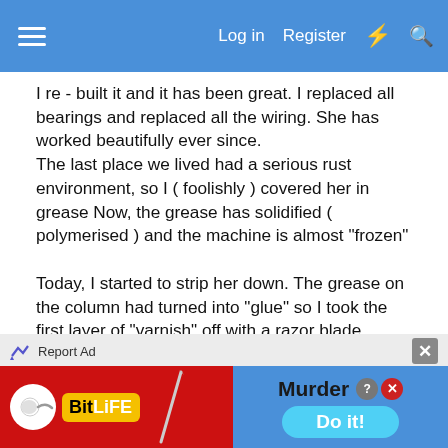Log in  Register
I re - built it and it has been great. I replaced all bearings and replaced all the wiring. She has worked beautifully ever since.
The last place we lived had a serious rust environment, so I ( foolishly ) covered her in grease Now, the grease has solidified ( polymerised ) and the machine is almost "frozen"

Today, I started to strip her down. The grease on the column had turned into "glue" so I took the first layer of "varnish" off with a razor blade.
Took as much as possible off the machine to reduce weight ready to "lay her down" so I can slide off the head.
Having dropped a Multico mortiser on my foot, I will
[Figure (screenshot): Advertisement banner for BitLife app showing 'Murder Do it!' with red background and blue button]